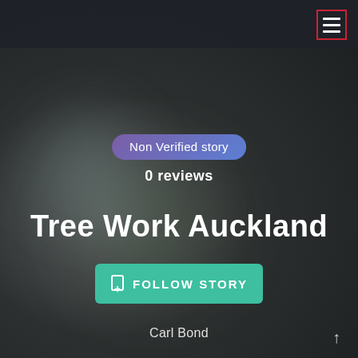[Figure (screenshot): Dark blurred background with gradient]
≡ (hamburger menu button with red border outline)
Non Verified story
0 reviews
Tree Work Auckland
FOLLOW STORY
Carl Bond